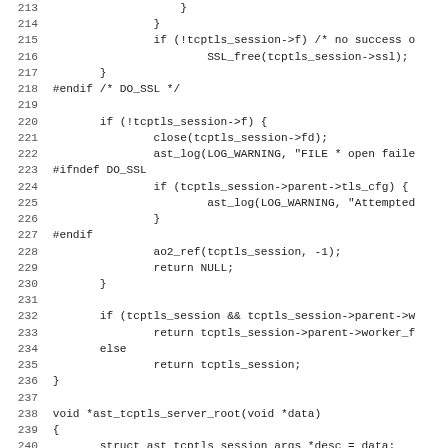[Figure (screenshot): Source code listing in monospace font showing C code lines 213-244, including SSL/TLS session handling, error logging, and function definition for ast_tcptls_server_root]